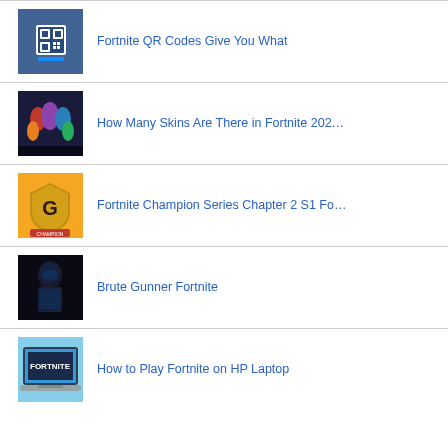Fortnite QR Codes Give You What
How Many Skins Are There in Fortnite 202…
Fortnite Champion Series Chapter 2 S1 Fo…
Brute Gunner Fortnite
How to Play Fortnite on HP Laptop